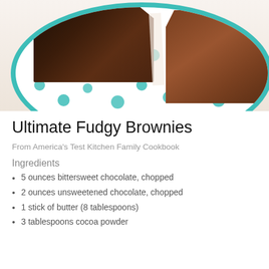[Figure (photo): Brownies on a white plate with teal polka-dot pattern]
Ultimate Fudgy Brownies
From America’s Test Kitchen Family Cookbook
Ingredients
5 ounces bittersweet chocolate, chopped
2 ounces unsweetened chocolate, chopped
1 stick of butter (8 tablespoons)
3 tablespoons cocoa powder